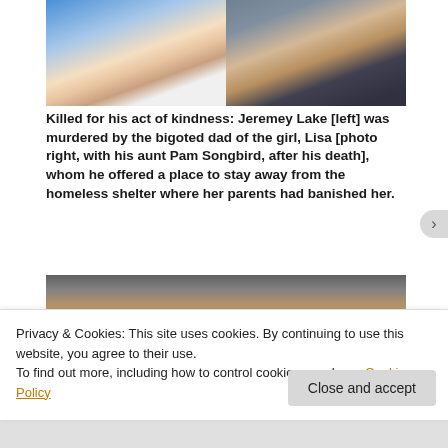[Figure (photo): Two side-by-side photos: left photo shows Jeremey Lake (young man in white t-shirt), right photo shows Lisa with her aunt Pam Songbird after his death.]
Killed for his act of kindness: Jeremey Lake [left] was murdered by the bigoted dad of the girl, Lisa [photo right, with his aunt Pam Songbird, after his death],  whom he offered a place to stay away from the homeless shelter where her parents had banished her.
[Figure (photo): Partial photo of a person with curly hair, shown from above, with a blurred background of metal/grid structures.]
Privacy & Cookies: This site uses cookies. By continuing to use this website, you agree to their use.
To find out more, including how to control cookies, see here: Cookie Policy